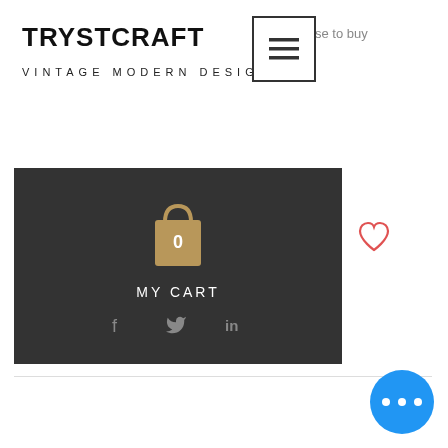TRYSTCRAFT
VINTAGE MODERN DESIGN
se to buy
[Figure (screenshot): Hamburger menu icon in a square border]
[Figure (screenshot): Dark dropdown cart panel showing a shopping bag icon with '0' and 'MY CART' label, with social media icons (f, bird, in) below]
[Figure (other): Red heart/wishlist icon]
[Figure (other): Blue circle button with three white dots (more options)]